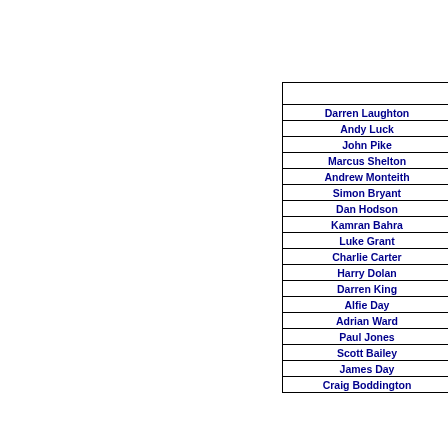|  |
| --- |
| Darren Laughton |
| Andy Luck |
| John Pike |
| Marcus Shelton |
| Andrew Monteith |
| Simon Bryant |
| Dan Hodson |
| Kamran Bahra |
| Luke Grant |
| Charlie Carter |
| Harry Dolan |
| Darren King |
| Alfie Day |
| Adrian Ward |
| Paul Jones |
| Scott Bailey |
| James Day |
| Craig Boddington |